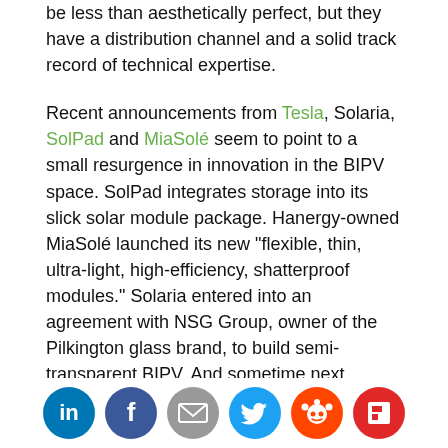be less than aesthetically perfect, but they have a distribution channel and a solid track record of technical expertise.
Recent announcements from Tesla, Solaria, SolPad and MiaSolé seem to point to a small resurgence in innovation in the BIPV space. SolPad integrates storage into its slick solar module package. Hanergy-owned MiaSolé launched its new "flexible, thin, ultra-light, high-efficiency, shatterproof modules." Solaria entered into an agreement with NSG Group, owner of the Pilkington glass brand, to build semi-transparent BIPV. And sometime next month, Tesla will be revealing its new rooftop BIPV product.
Third-generation solar
Social share buttons: LinkedIn, Facebook, Email, Twitter, Reddit, Flipboard